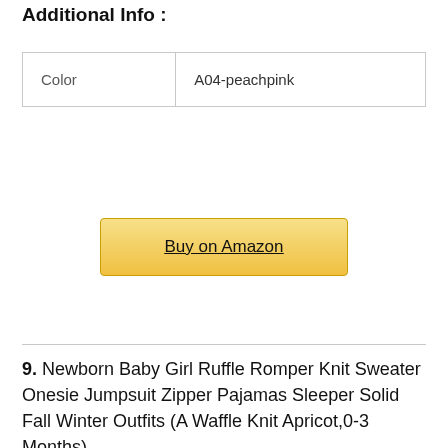Additional Info :
| Color | A04-peachpink |
Buy on Amazon
9. Newborn Baby Girl Ruffle Romper Knit Sweater Onesie Jumpsuit Zipper Pajamas Sleeper Solid Fall Winter Outfits (A Waffle Knit Apricot,0-3 Months)